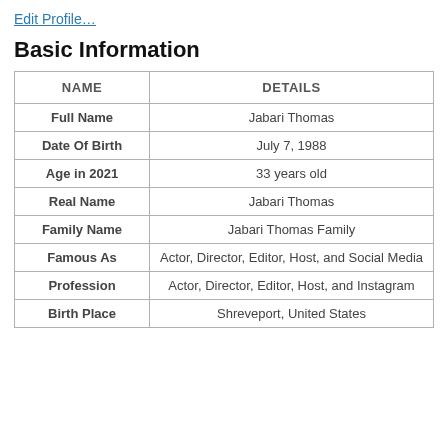Edit Profile…
Basic Information
| NAME | DETAILS |
| --- | --- |
| Full Name | Jabari Thomas |
| Date Of Birth | July 7, 1988 |
| Age in 2021 | 33 years old |
| Real Name | Jabari Thomas |
| Family Name | Jabari Thomas Family |
| Famous As | Actor, Director, Editor, Host, and Social Media |
| Profession | Actor, Director, Editor, Host, and Instagram |
| Birth Place | Shreveport, United States |